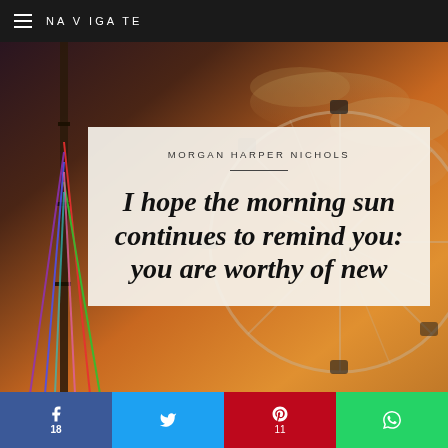NAVIGATE
[Figure (photo): Background photo of a Ferris wheel against a warm golden-orange sunset sky, with colorful cables on the left side]
MORGAN HARPER NICHOLS
I hope the morning sun continues to remind you: you are worthy of new
f 18 | (twitter bird) | P 11 | (whatsapp)